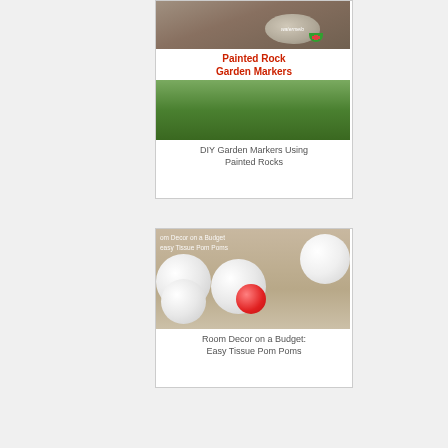[Figure (photo): Painted rocks with vegetable names written on them, shown on wood surface. One rock shows a watermelon illustration.]
Painted Rock Garden Markers
[Figure (photo): Close-up of a painted gray rock with the word 'Peas' written in white italic script, on a green leafy background.]
DIY Garden Markers Using Painted Rocks
[Figure (photo): Room decorated with white and pink tissue pom poms hanging from ceiling, with dark curtains in background. Text overlay reads 'Room Decor on a Budget Easy Tissue Pom Poms'.]
Room Decor on a Budget: Easy Tissue Pom Poms